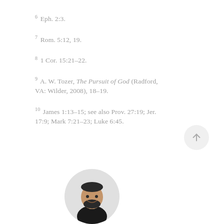6 Eph. 2:3.
7 Rom. 5:12, 19.
8 1 Cor. 15:21–22.
9 A. W. Tozer, The Pursuit of God (Radford, VA: Wilder, 2008), 18–19.
10 James 1:13–15; see also Prov. 27:19; Jer. 17:9; Mark 7:21–23; Luke 6:45.
[Figure (photo): Circular author photo showing a man with a beard, wearing dark clothing, smiling.]